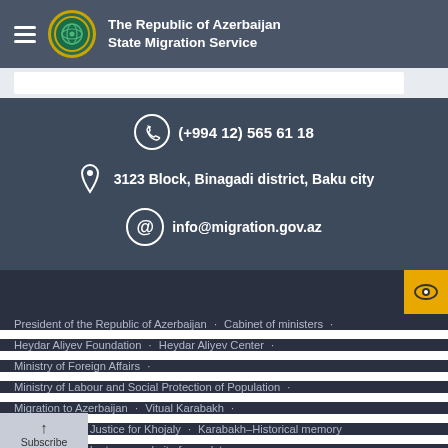The Republic of Azerbaijan State Migration Service
(+994 12) 565 61 18
3123 Block, Binagadi district, Baku city
info@migration.gov.az
President of the Republic of Azerbaijan · Cabinet of ministers ·
Heydar Aliyev Foundation · Heydar Aliyev Center ·
Ministry of Foreign Affairs ·
Ministry of Labour and Social Protection of Population ·
Migration to Azerbaijan · Vitual Karabakh ·
Justice for Khojaly · Karabakh–Historical memory
Subscribe to our website for updates